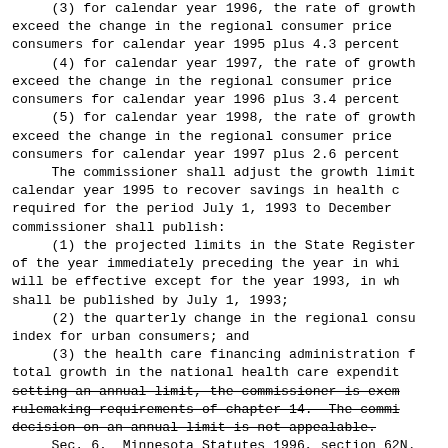(3) for calendar year 1996, the rate of growth exceed the change in the regional consumer price consumers for calendar year 1995 plus 4.3 percent
(4) for calendar year 1997, the rate of growth exceed the change in the regional consumer price consumers for calendar year 1996 plus 3.4 percent
(5) for calendar year 1998, the rate of growth exceed the change in the regional consumer price consumers for calendar year 1997 plus 2.6 percent
The commissioner shall adjust the growth limit calendar year 1995 to recover savings in health c required for the period July 1, 1993 to December commissioner shall publish:
(1) the projected limits in the State Register of the year immediately preceding the year in whi will be effective except for the year 1993, in wh shall be published by July 1, 1993;
(2) the quarterly change in the regional consu index for urban consumers; and
(3) the health care financing administration f total growth in the national health care expendit setting an annual limit, the commissioner is exem rulemaking requirements of chapter 14. The commi decision on an annual limit is not appealable.
Sec. 6. Minnesota Statutes 1996, section 62N.